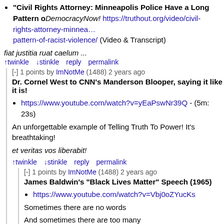"Civil Rights Attorney: Minneapolis Police Have a Long Pattern of..." DemocracyNow! https://truthout.org/video/civil-rights-attorney-minnea...pattern-of-racist-violence/ (Video & Transcript)
fiat justitia ruat caelum ...
↑twinkle  ↓stinkle  reply  permalink
[-] 1 points by ImNotMe (1488) 2 years ago
Dr. Cornel West to CNN's Manderson Blooper, saying it like it is!
https://www.youtube.com/watch?v=yEaPswNr39Q - (5m: 23s)
An unforgettable example of Telling Truth To Power! It's breathtaking!
et veritas vos liberabit!
↑twinkle  ↓stinkle  reply  permalink
[-] 1 points by ImNotMe (1488) 2 years ago
James Baldwin's "Black Lives Matter" Speech (1965)
https://www.youtube.com/watch?v=Vbj0oZYucKs
Sometimes there are no words
And sometimes there are too many
Sometimes they can be spoken by none
And sometimes they can be spoken by any
But if they are said at all by one so sanguine,
Then we should give thanks that there once was